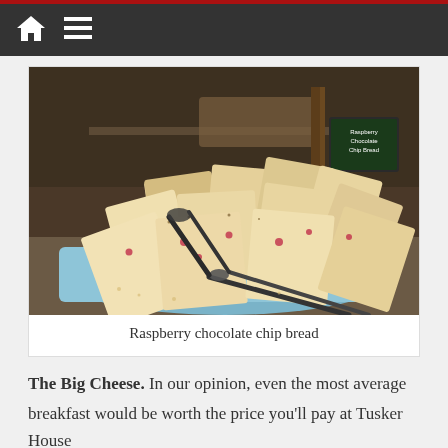[Figure (photo): Slices of raspberry chocolate chip bread piled on a blue serving tray with tongs, displayed at a buffet. A small chalkboard sign reading 'Raspberry Chocolate Chip Bread' is visible in the background.]
Raspberry chocolate chip bread
The Big Cheese. In our opinion, even the most average breakfast would be worth the price you'll pay at Tusker House as long as it included a moment of bonding and a picture with